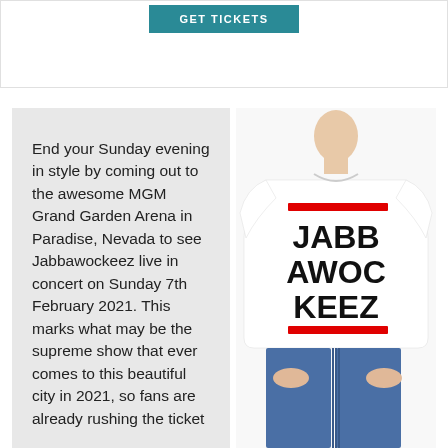[Figure (other): GET TICKETS button on white/bordered banner background]
End your Sunday evening in style by coming out to the awesome MGM Grand Garden Arena in Paradise, Nevada to see Jabbawockeez live in concert on Sunday 7th February 2021. This marks what may be the supreme show that ever comes to this beautiful city in 2021, so fans are already rushing the ticket
[Figure (photo): Man wearing white t-shirt with JABBAWOCKEEZ text printed on it with red horizontal bars above and below the text, wearing blue jeans]